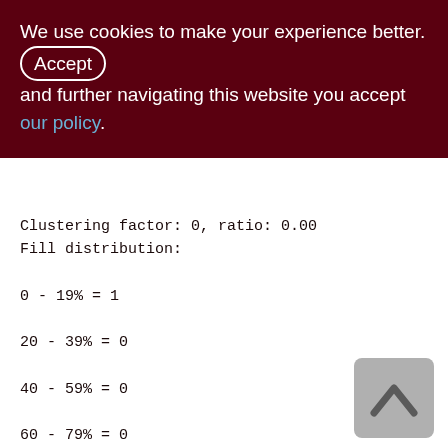We use cookies to make your experience better. By accepting and further navigating this website you accept our policy.
Clustering factor: 0, ratio: 0.00
Fill distribution:
0 - 19% = 1
20 - 39% = 0
40 - 59% = 0
60 - 79% = 0
80 - 99% = 0

TMP$SHOPPING_CART (128)
Primary pointer page: 211, Index root page: 212
Total formats: 1, used formats: 0